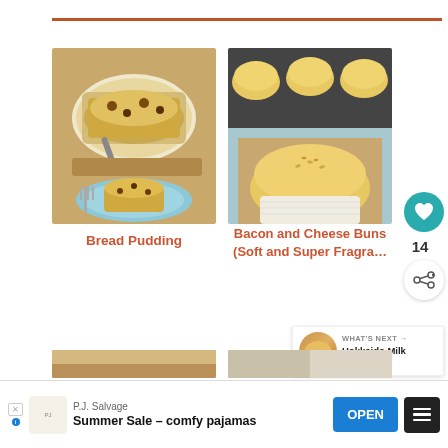[Figure (photo): Food recipe thumbnail images: left shows bread pudding in a white casserole dish with a serving on a blue plate and fork; right shows golden bacon and cheese buns in a muffin tin and on a wooden surface in paper cups]
Bread Pudding
Bacon and Cheese Buns (Soft and Super Fragrant
[Figure (photo): Round bread bun image thumbnail for 'What's Next']
WHAT'S NEXT → Hokkaido Milk Toast...
[Figure (photo): Bottom row partial thumbnails of more food recipes]
P.J. Salvage
Summer Sale – comfy pajamas